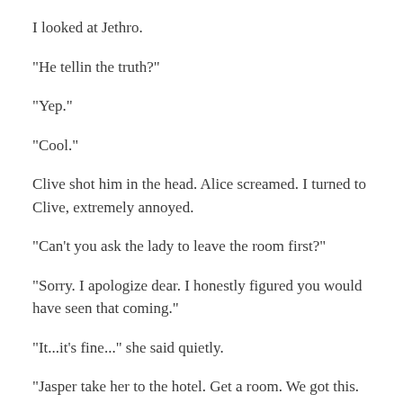I looked at Jethro.
"He tellin the truth?"
"Yep."
"Cool."
Clive shot him in the head. Alice screamed. I turned to Clive, extremely annoyed.
"Can't you ask the lady to leave the room first?"
"Sorry. I apologize dear. I honestly figured you would have seen that coming."
"It...it's fine..." she said quietly.
"Jasper take her to the hotel. Get a room. We got this. Ya'll don't need to be a part of this." I told him honestly